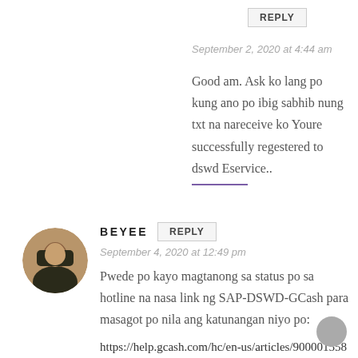REPLY
September 2, 2020 at 4:44 am
Good am. Ask ko lang po kung ano po ibig sabhib nung txt na nareceive ko Youre successfully regestered to dswd Eservice..
BEYEE
REPLY
September 4, 2020 at 12:49 pm
Pwede po kayo magtanong sa status po sa hotline na nasa link ng SAP-DSWD-GCash para masagot po nila ang katunangan niyo po:
https://help.gcash.com/hc/en-us/articles/900001558646-DSWD-Social-Amelioration-Program-GCash-